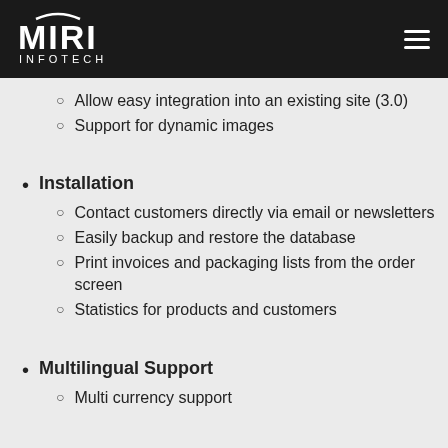[Figure (logo): Miri Infotech logo on black header bar with hamburger menu icon]
Allow easy integration into an existing site (3.0)
Support for dynamic images
Installation
Contact customers directly via email or newsletters
Easily backup and restore the database
Print invoices and packaging lists from the order screen
Statistics for products and customers
Multilingual Support
Multi currency support